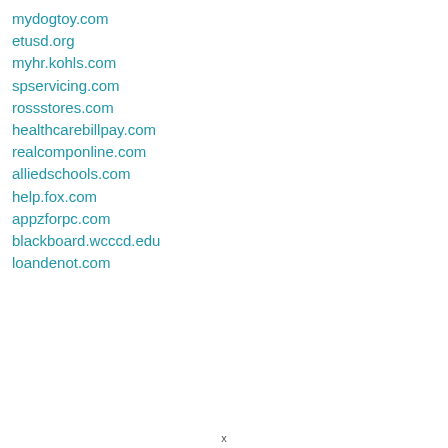mydogtoy.com
etusd.org
myhr.kohls.com
spservicing.com
rossstores.com
healthcarebillpay.com
realcomponline.com
alliedschools.com
help.fox.com
appzforpc.com
blackboard.wcccd.edu
loandepo t.com
x